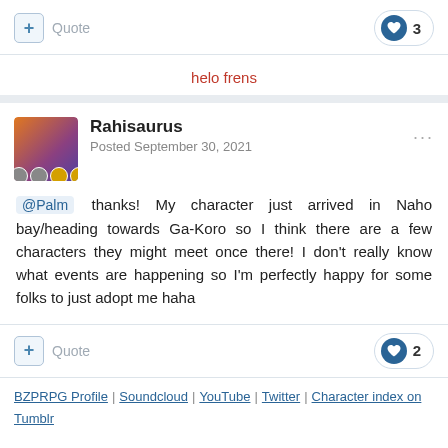+ Quote | ❤ 3
helo frens
Rahisaurus
Posted September 30, 2021
@Palm thanks! My character just arrived in Naho bay/heading towards Ga-Koro so I think there are a few characters they might meet once there! I don't really know what events are happening so I'm perfectly happy for some folks to just adopt me haha
+ Quote | ❤ 2
BZPRPG Profile | Soundcloud | YouTube | Twitter | Character index on Tumblr